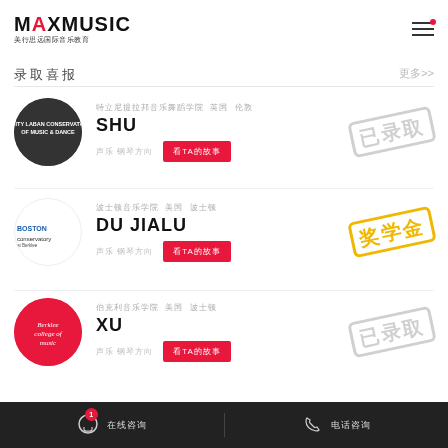MAXMUSIC 美行思远国际音乐教育
录取喜报
更多>>
[Figure (logo): Trinity Laban Conservatoire of Music & Dance circular dark logo]
特立尼提拉邦音乐舞蹈学院 英国 伦敦
SHU
声乐 钢琴方向
看TA的故事
已录取
[Figure (logo): Boston Conservatory logo]
波士顿音乐学院 美国 波士顿
DU JIALU
声乐 钢琴方向
看TA的故事
奖学金
[Figure (logo): Berklee College of Music red circular logo]
伯克利音乐学院 美国 波士顿
XU
声乐 钢琴方向
看TA的故事
已录取
1 在线咨询  电话咨询